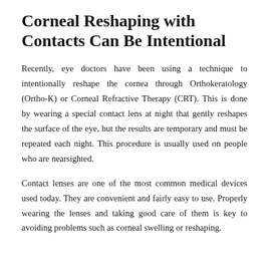Corneal Reshaping with Contacts Can Be Intentional
Recently, eye doctors have been using a technique to intentionally reshape the cornea through Orthokeratology (Ortho-K) or Corneal Refractive Therapy (CRT). This is done by wearing a special contact lens at night that gently reshapes the surface of the eye, but the results are temporary and must be repeated each night. This procedure is usually used on people who are nearsighted.
Contact lenses are one of the most common medical devices used today. They are convenient and fairly easy to use. Properly wearing the lenses and taking good care of them is key to avoiding problems such as corneal swelling or reshaping.